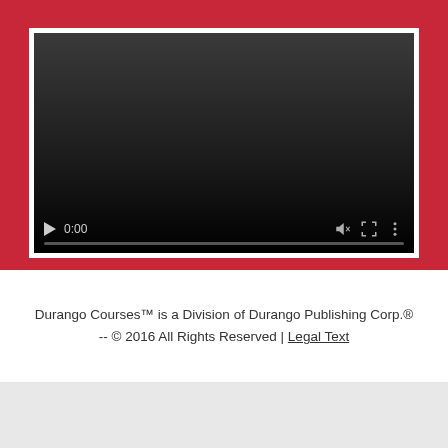[Figure (screenshot): A video player embedded in a red background section. The player shows a dark/black video area with player controls at the bottom: a play button, time display showing 0:00, volume icon, fullscreen icon, and more options icon. A progress bar runs along the bottom.]
Durango Courses™ is a Division of Durango Publishing Corp.® -- © 2016 All Rights Reserved | Legal Text